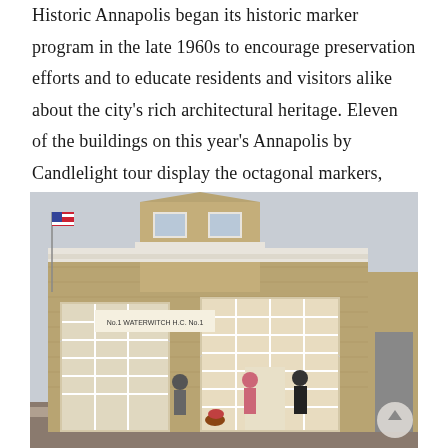Historic Annapolis began its historic marker program in the late 1960s to encourage preservation efforts and to educate residents and visitors alike about the city's rich architectural heritage. Eleven of the buildings on this year's Annapolis by Candlelight tour display the octagonal markers, which are color-coded according to different eras and styles.
[Figure (photo): Photograph of a historic brick firehouse building labeled 'No.1 WATERWITCH H.C. No.1', featuring large arched garage doors with white grid windows, and several visitors standing at the entrance. An American flag is visible on the left side.]